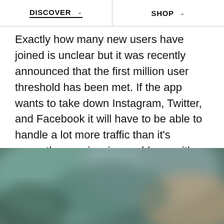DISCOVER  SHOP
Exactly how many new users have joined is unclear but it was recently announced that the first million user threshold has been met. If the app wants to take down Instagram, Twitter, and Facebook it will have to be able to handle a lot more traffic than it's currently experiencing problems with.
Other criticisms of Vero
[Figure (photo): A blurred/out-of-focus photograph forming the bottom portion of the page, showing muted greens, teals, and warm brown tones.]